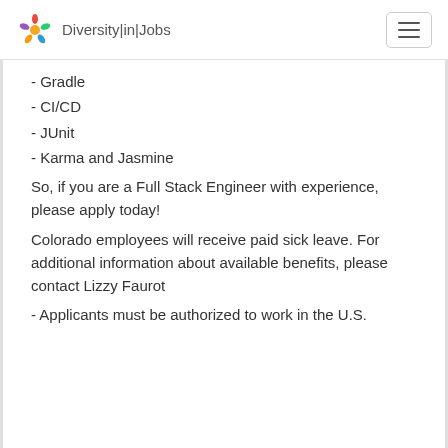Diversity|in|Jobs
- Gradle
- CI/CD
- JUnit
- Karma and Jasmine
So, if you are a Full Stack Engineer with experience, please apply today!
Colorado employees will receive paid sick leave. For additional information about available benefits, please contact Lizzy Faurot
- Applicants must be authorized to work in the U.S.